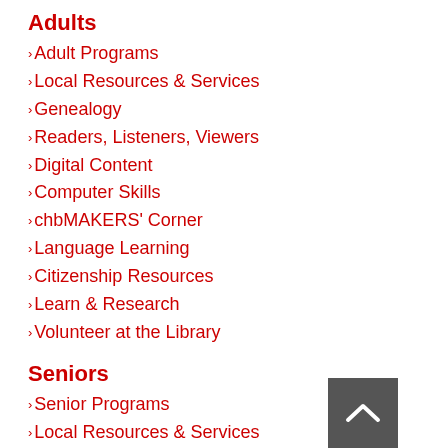Adults
Adult Programs
Local Resources & Services
Genealogy
Readers, Listeners, Viewers
Digital Content
Computer Skills
chbMAKERS' Corner
Language Learning
Citizenship Resources
Learn & Research
Volunteer at the Library
Seniors
Senior Programs
Local Resources & Services